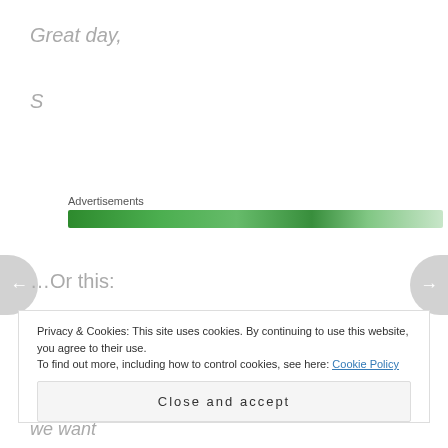Great day,
S
Advertisements
[Figure (other): Green advertisement banner bar]
…Or this:
Hello' how are you? You alright' can you meet me for
Privacy & Cookies: This site uses cookies. By continuing to use this website, you agree to their use. To find out more, including how to control cookies, see here: Cookie Policy
Close and accept
hi my good heart sister, u are e special people we want